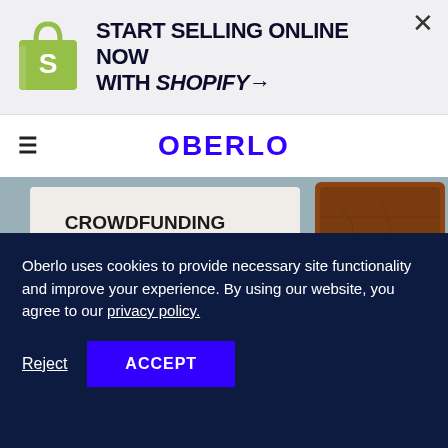[Figure (screenshot): Shopify ad banner with Shopify bag logo on the left, text 'START SELLING ONLINE NOW WITH SHOPIFY→' in bold uppercase, and an X close button on the right]
OBERLO
[Figure (photo): Split image: left side shows a whiteboard with 'CROWDFUNDING' text and a lightbulb diagram with dollar sign icons and arrows; right side shows a brown leather notebook/wallet]
Oberlo uses cookies to provide necessary site functionality and improve your experience. By using our website, you agree to our privacy policy.
Reject   ACCEPT